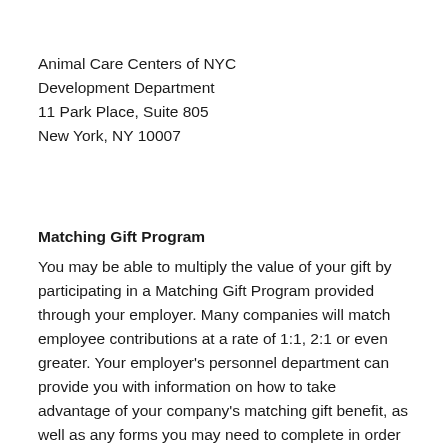Animal Care Centers of NYC
Development Department
11 Park Place, Suite 805
New York, NY 10007
Matching Gift Program
You may be able to multiply the value of your gift by participating in a Matching Gift Program provided through your employer. Many companies will match employee contributions at a rate of 1:1, 2:1 or even greater. Your employer's personnel department can provide you with information on how to take advantage of your company's matching gift benefit, as well as any forms you may need to complete in order to participate.